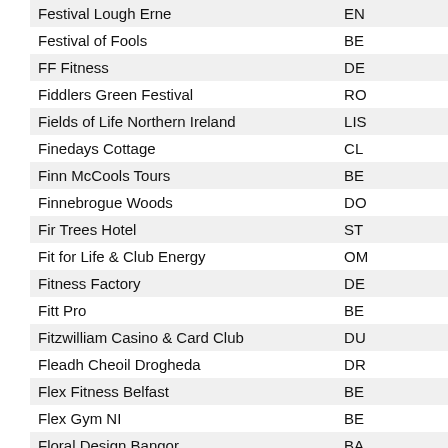| Name | Code |
| --- | --- |
| Festival Lough Erne | EN |
| Festival of Fools | BE |
| FF Fitness | DE |
| Fiddlers Green Festival | RO |
| Fields of Life Northern Ireland | LIS |
| Finedays Cottage | CL |
| Finn McCools Tours | BE |
| Finnebrogue Woods | DO |
| Fir Trees Hotel | ST |
| Fit for Life & Club Energy | OM |
| Fitness Factory | DE |
| Fitt Pro | BE |
| Fitzwilliam Casino & Card Club | DU |
| Fleadh Cheoil Drogheda | DR |
| Flex Fitness Belfast | BE |
| Flex Gym NI | BE |
| Floral Design Bangor | BA |
| Florence Court National Trust | EN |